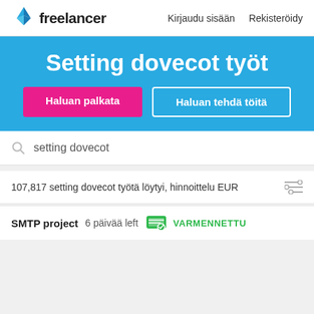[Figure (logo): Freelancer logo with blue origami bird and 'freelancer' wordmark]
Kirjaudu sisään   Rekisteröidy
Setting dovecot työt
Haluan palkata
Haluan tehdä töitä
setting dovecot
107,817 setting dovecot työtä löytyi, hinnoittelu EUR
SMTP project 6 päivää left VARMENNETTU